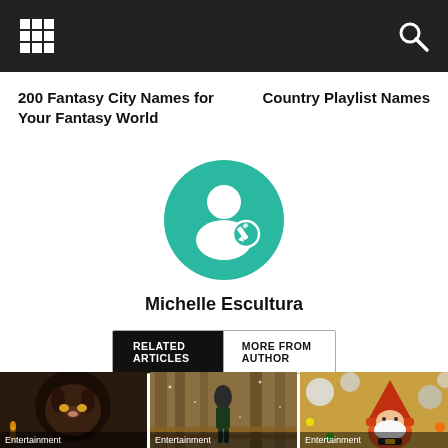200 Fantasy City Names for Your Fantasy World
Country Playlist Names
[Figure (illustration): Teal circular avatar icon with white person silhouette and pen/edit badge]
Michelle Escultura
RELATED ARTICLES | MORE FROM AUTHOR
[Figure (photo): Dark fantasy image of a cat/beast creature - Entertainment]
[Figure (photo): Woman standing on a wooden bridge in a forest - Entertainment]
[Figure (photo): Christmas gnome figurine with ornaments - Entertainment]